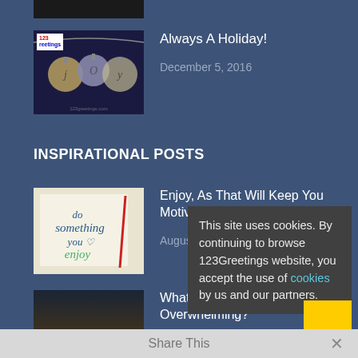[Figure (photo): Partial cropped dark image at top]
[Figure (photo): Christmas ornaments/decorations photo with 123Greetings logo overlay]
Always A Holiday!
December 5, 2016
INSPIRATIONAL POSTS
[Figure (photo): Motivational handwriting note saying 'do something you enjoy']
Enjoy, As That Will Keep You Motivated!
August 5, 2022
[Figure (photo): Sunset silhouette photo of person with arms raised]
What To Do When Thi... Overwhelming?
June 10, 2022
This site uses cookies. By continuing to browse 123Greetings website, you accept the use of cookies by us and our partners.
Share This